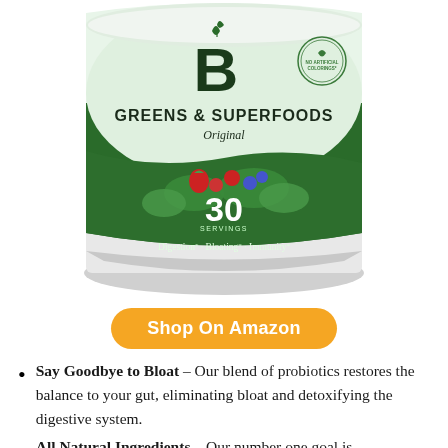[Figure (illustration): A green and white supplement tub labeled 'B GREENS & SUPERFOODS Original, 30 Servings, Digestion, Bloating, Immunity' with a leaf logo and no artificial colorings badge, showing berries and greens graphics.]
Shop On Amazon
Say Goodbye to Bloat – Our blend of probiotics restores the balance to your gut, eliminating bloat and detoxifying the digestive system.
All Natural Ingredients – Our number one goal is